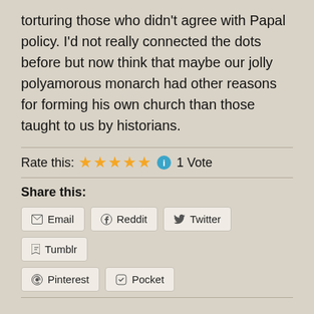torturing those who didn't agree with Papal policy. I'd not really connected the dots before but now think that maybe our jolly polyamorous monarch had other reasons for forming his own church than those taught to us by historians.
Rate this: ★★★★★ ⓘ 1 Vote
Share this:
Email
Reddit
Twitter
Tumblr
Pinterest
Pocket